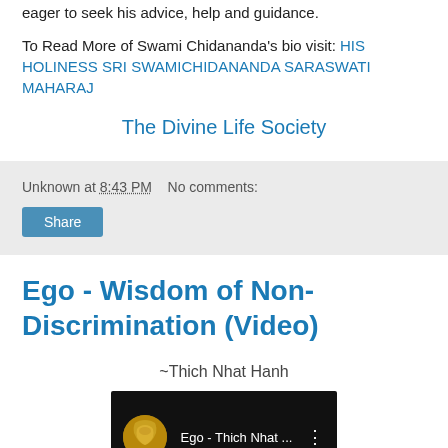eager to seek his advice, help and guidance.
To Read More of Swami Chidananda's bio visit: HIS HOLINESS SRI SWAMICHIDANANDA SARASWATI MAHARAJ
The Divine Life Society
Unknown at 8:43 PM   No comments:
Ego - Wisdom of Non-Discrimination (Video)
~Thich Nhat Hanh
[Figure (screenshot): YouTube video thumbnail showing 'Ego - Thich Nhat ...' with a circular gold icon on black background and three-dot menu]